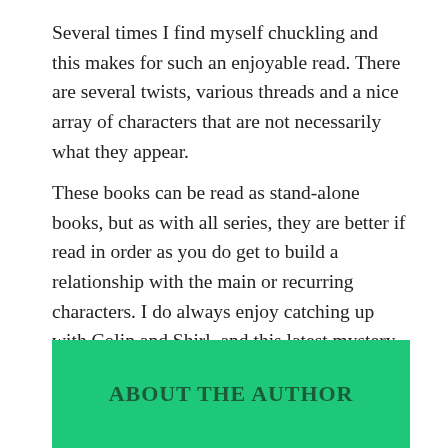Several times I find myself chuckling and this makes for such an enjoyable read. There are several twists, various threads and a nice array of characters that are not necessarily what they appear.
These books can be read as stand-alone books, but as with all series, they are better if read in order as you do get to build a relationship with the main or recurring characters. I do always enjoy catching up with Colin and Shirl, and this latest mystery is a fabulous one. It mixes fact and fiction giving an exciting and manic read, it is one I would definitely recommend.
ABOUT THE AUTHOR